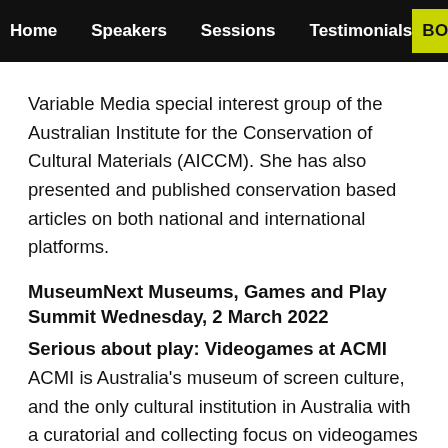Home  Speakers  Sessions  Testimonials  BOO
Variable Media special interest group of the Australian Institute for the Conservation of Cultural Materials (AICCM). She has also presented and published conservation based articles on both national and international platforms.
MuseumNext Museums, Games and Play Summit Wednesday, 2 March 2022
Serious about play: Videogames at ACMI
ACMI is Australia's museum of screen culture, and the only cultural institution in Australia with a curatorial and collecting focus on videogames as an artistic medium and social phenomemon. Hear from our experts as we take you through some of